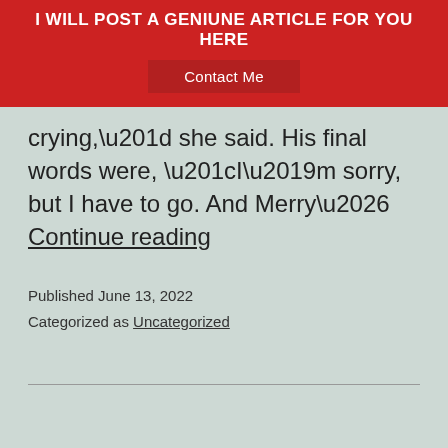I WILL POST A GENIUNE ARTICLE FOR YOU HERE
Contact Me
crying,” she said. His final words were, “I’m sorry, but I have to go. And Merry… Continue reading
Published June 13, 2022
Categorized as Uncategorized